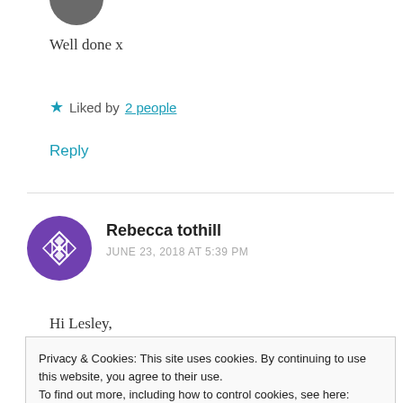[Figure (photo): Partial circular avatar image at top, cropped, showing only the bottom portion of a person's photo]
Well done x
★ Liked by 2 people
Reply
[Figure (logo): Purple circular avatar with white geometric diamond/rhombus pattern for Rebecca tothill]
Rebecca tothill
JUNE 23, 2018 AT 5:39 PM
Hi Lesley,
Privacy & Cookies: This site uses cookies. By continuing to use this website, you agree to their use.
To find out more, including how to control cookies, see here: Cookie Policy
Close and accept